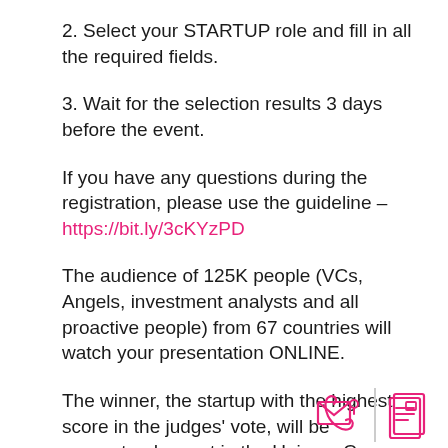2. Select your STARTUP role and fill in all the required fields.
3. Wait for the selection results 3 days before the event.
If you have any questions during the registration, please use the guideline – https://bit.ly/3cKYzPD
The audience of 125K people (VCs, Angels, investment analysts and all proactive people) from 67 countries will watch your presentation ONLINE.
The winner, the startup with the highest score in the judges' vote, will be guaranteed a spot in the Unicorn Cup Finals. Please notice, only 10 startups will be selected for pitching live. So do not leave your application to the last minute.